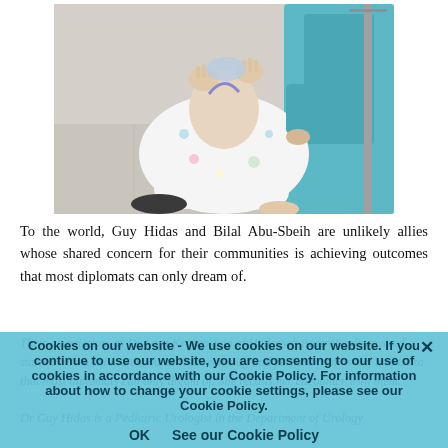[Figure (photo): A child wearing a hospital gown with colorful cartoon print kneeling on a hospital floor, with an adult in teal/green medical scrubs visible on the right side.]
To the world, Guy Hidas and Bilal Abu-Sbeih are unlikely allies whose shared concern for their communities is achieving outcomes that most diplomats can only dream of.
Their association, as Dr Lara Krasnostein of Hadassah Australia discovered, started with a chance encounter between staff and patients from Israel and Gaza that most diplomats can only dream of. She recalls her encounter with them.
Dr Guy Hidas is a Pediatric Urologist in the Department of Urology
Cookies on our website - We use cookies on our website. If you continue to use our website, you are consenting to our use of cookies in accordance with our Cookie Policy. For information about how to change your cookie settings, please see our Cookie Policy.